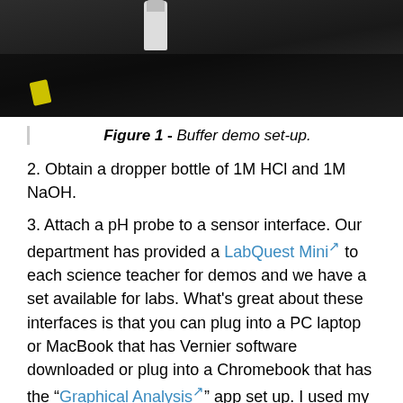[Figure (photo): Photo of a lab bench with dark surface, a dropper bottle, and a yellow label tag visible in the lower left.]
Figure 1 - Buffer demo set-up.
2. Obtain a dropper bottle of 1M HCl and 1M NaOH.
3. Attach a pH probe to a sensor interface. Our department has provided a LabQuest Mini to each science teacher for demos and we have a set available for labs. What's great about these interfaces is that you can plug into a PC laptop or MacBook that has Vernier software downloaded or plug into a Chromebook that has the "Graphical Analysis" app set up. I used my staff Chromebook and Google Cast for Education to display the data collection on the projector in real-time.